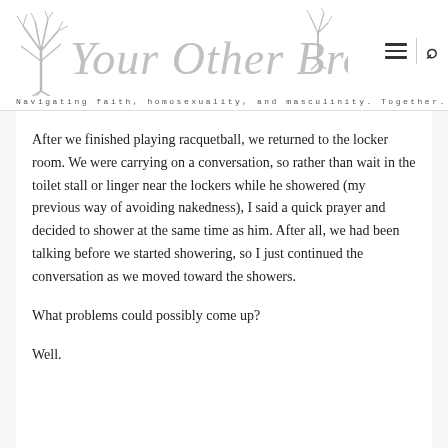[Figure (logo): Your Other Brothers logo with hand-drawn tree illustration and decorative text]
Navigating faith, homosexuality, and masculinity. Together.
After we finished playing racquetball, we returned to the locker room. We were carrying on a conversation, so rather than wait in the toilet stall or linger near the lockers while he showered (my previous way of avoiding nakedness), I said a quick prayer and decided to shower at the same time as him. After all, we had been talking before we started showering, so I just continued the conversation as we moved toward the showers.
What problems could possibly come up?
Well.